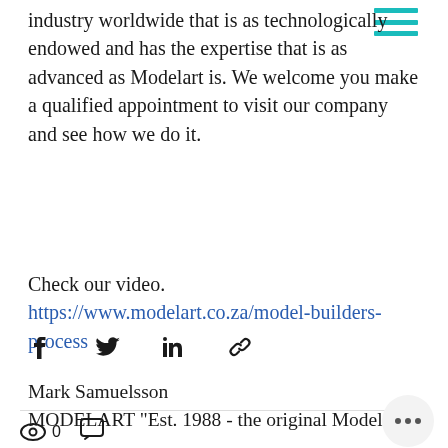industry worldwide that is as technologically endowed and has the expertise that is as advanced as Modelart is. We welcome you make a qualified appointment to visit our company and see how we do it.
Check our video.
https://www.modelart.co.za/model-builders-process
Mark Samuelsson
MODELART “Est. 1988 - the original Modelart”
[Figure (infographic): Social share icons: Facebook, Twitter, LinkedIn, link/chain icon]
[Figure (infographic): Bottom bar with eye/views icon showing 0 views, comment icon, and a more options button (three dots in a circle)]